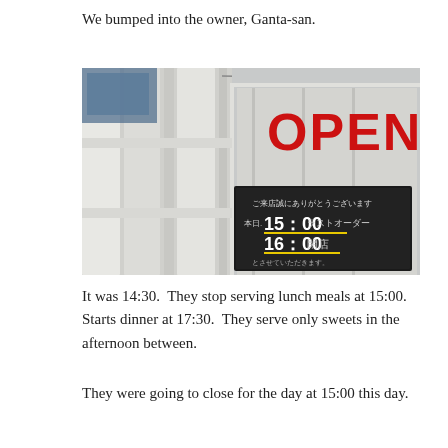We bumped into the owner, Ganta-san.
[Figure (photo): Photo of a white wooden fence/gate with a red painted OPEN sign, and a dark chalkboard sign in Japanese showing 15:00 last order and 16:00 closing time.]
It was 14:30.  They stop serving lunch meals at 15:00.  Starts dinner at 17:30.  They serve only sweets in the afternoon between.
They were going to close for the day at 15:00 this day.